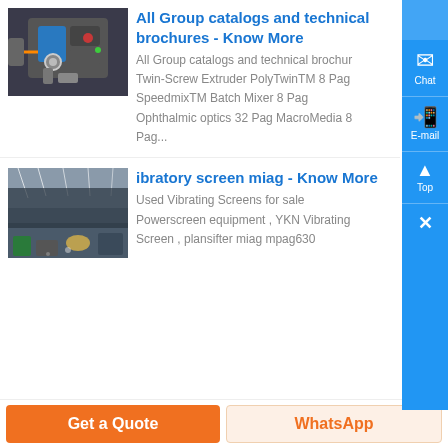[Figure (photo): Mechanical robotic arm with blue electronic components]
All Group catalogs and technical brochures - Know More
All Group catalogs and technical brochur Twin-Screw Extruder PolyTwinTM 8 Pag SpeedmixTM Batch Mixer 8 Pag Ophthalmic optics 32 Pag MacroMedia 8 Pag...
[Figure (photo): Industrial factory interior with large screens/panels]
ibratory screen miag - Know More
Used Vibrating Screens for sale Powerscreen equipment , YKN Vibrating Screen , plansifter miag mpag630